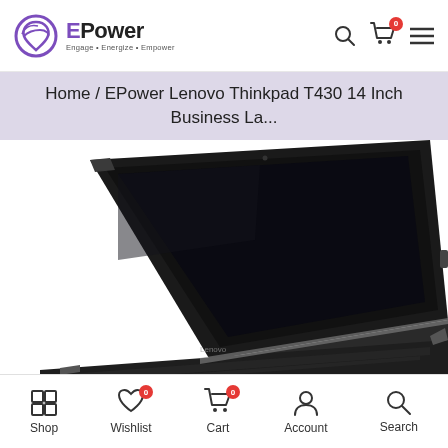EPower — Engage · Energize · Empower
Home / EPower Lenovo Thinkpad T430 14 Inch Business La...
[Figure (photo): Lenovo Thinkpad T430 laptop open at an angle showing the black screen and keyboard, photographed from above-right perspective against white background.]
Shop | Wishlist (0) | Cart (0) | Account | Search